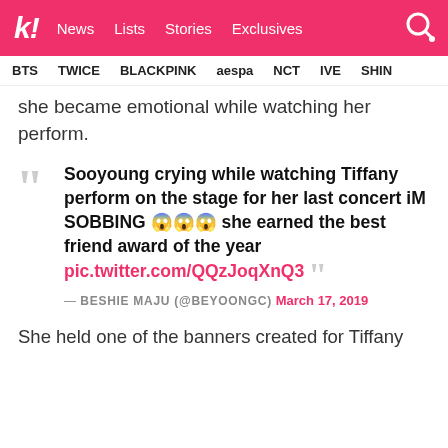k! News Lists Stories Exclusives
BTS TWICE BLACKPINK aespa NCT IVE SHIN
she became emotional while watching her perform.
Sooyoung crying while watching Tiffany perform on the stage for her last concert iM SOBBING 😱😱😱 she earned the best friend award of the year pic.twitter.com/QQzJoqXnQ3 — BESHIE MAJU (@beyoongc) March 17, 2019
She held one of the banners created for Tiffany